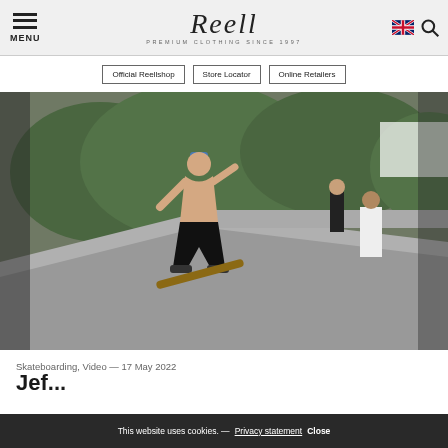MENU | Reell PREMIUM CLOTHING SINCE 1997 | [UK flag] [Search]
Official Reellshop | Store Locator | Online Retailers
[Figure (photo): A shirtless skateboarder in black pants and a blue cap performing a trick on a concrete ledge at an outdoor skate event. Green trees in the background, spectators and a bicycle visible to the right.]
Skateboarding, Video — 17 May 2022
Jef...
This website uses cookies. — Privacy statement Close